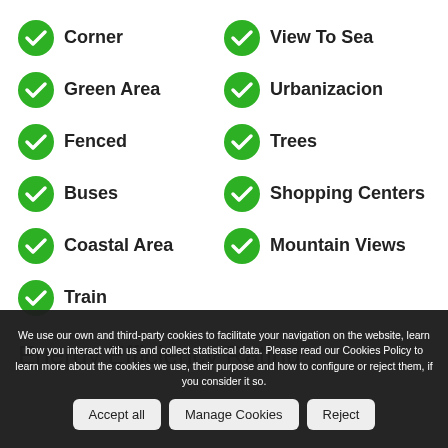Corner
View To Sea
Green Area
Urbanizacion
Fenced
Trees
Buses
Shopping Centers
Coastal Area
Mountain Views
Train
Energy Efficiency Rating
We use our own and third-party cookies to facilitate your navigation on the website, learn how you interact with us and collect statistical data. Please read our Cookies Policy to learn more about the cookies we use, their purpose and how to configure or reject them, if you consider it so.
Accept all | Manage Cookies | Reject